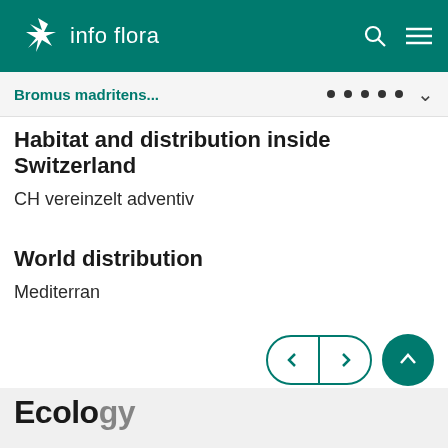info flora
Bromus madritens...
Habitat and distribution inside Switzerland
CH vereinzelt adventiv
World distribution
Mediterran
Ecology